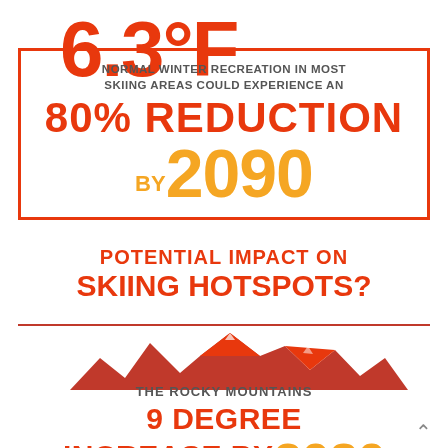6.3°F
Normal winter recreation in most skiing areas could experience an 80% REDUCTION BY 2090
POTENTIAL IMPACT ON SKIING HOTSPOTS?
[Figure (illustration): Silhouette of mountain range (Rocky Mountains) in orange/brown tones]
THE ROCKY MOUNTAINS
9 DEGREE INCREASE BY 2080